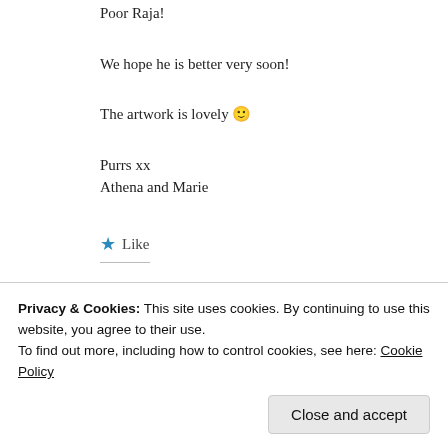Poor Raja!
We hope he is better very soon!
The artwork is lovely 🙂
Purrs xx
Athena and Marie
★ Like
Yael Ren Arl
Privacy & Cookies: This site uses cookies. By continuing to use this website, you agree to their use.
To find out more, including how to control cookies, see here: Cookie Policy
Close and accept